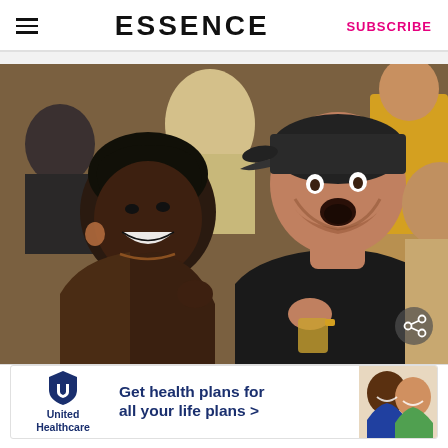ESSENCE | SUBSCRIBE
[Figure (photo): Two people sitting courtside at a basketball game. A Black woman with short dark hair wearing a brown top and hoop earrings is laughing. Next to her is a white man in a black t-shirt and dark baseball cap with his mouth open in surprise/excitement. Background shows other spectators.]
[Figure (infographic): United Healthcare advertisement banner: 'Get health plans for all your life plans >' with UHC logo on left and photo of smiling people on right.]